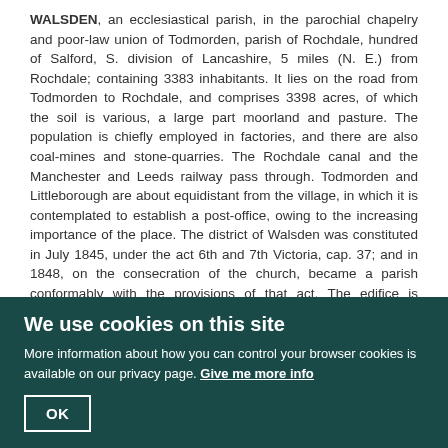WALSDEN, an ecclesiastical parish, in the parochial chapelry and poor-law union of Todmorden, parish of Rochdale, hundred of Salford, S. division of Lancashire, 5 miles (N. E.) from Rochdale; containing 3383 inhabitants. It lies on the road from Todmorden to Rochdale, and comprises 3398 acres, of which the soil is various, a large part moorland and pasture. The population is chiefly employed in factories, and there are also coal-mines and stone-quarries. The Rochdale canal and the Manchester and Leeds railway pass through. Todmorden and Littleborough are about equidistant from the village, in which it is contemplated to establish a post-office, owing to the increasing importance of the place. The district of Walsden was constituted in July 1845, under the act 6th and 7th Victoria, cap. 37; and in 1848, on the consecration of the church, became a parish conformably with the provisions of that act. The edifice is dedicated to St. Peter, and is in the early English style, having a nave, aisles, and chancel, with a tower and spire 150 feet in height. A parochial schoolhouse, with a steep pitched roof, was completed in June 1848. Both buildings stand on the Henshaw estate, the property of John Crossley, of Scaitcliffe, Esq., M.A., who kindly presented the sites. The living is a perpetual curacy, in the patronage of the Crown and the Bishop of Manchester, alternately; income, £150.
We use cookies on this site
More information about how you can control your browser cookies is available on our privacy page. Give me more info
OK